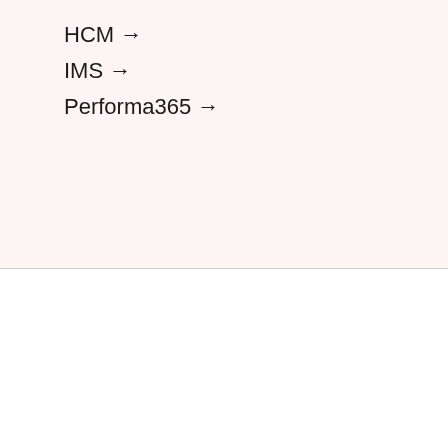HCM →
IMS →
Performa365 →
Internetska stranica infodom.hr koristi kolačiće (cookies) kako bi Vam osigurali bolje korisničko iskustvo.
Website infodom.hr uses cookies to make sure you will have a better user experience
OK